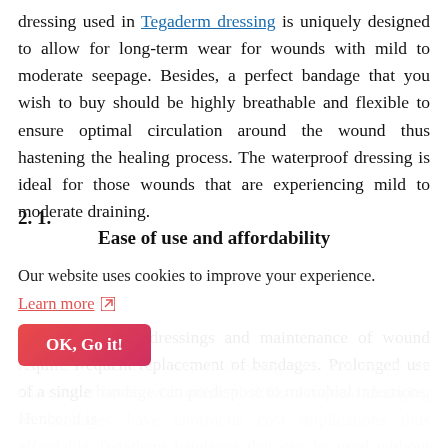dressing used in Tegaderm dressing is uniquely designed to allow for long-term wear for wounds with mild to moderate seepage. Besides, a perfect bandage that you wish to buy should be highly breathable and flexible to ensure optimal circulation around the wound thus hastening the healing process. The waterproof dressing is ideal for those wounds that are experiencing mild to moderate draining.
2. 1.
Ease of use and affordability
Hygienic use of dressings and maintenance of wound require frequent replacement of bandages. Prolonged use of a single bandage can predispose to microbial infections. Hence, it is necessary that one uses a dressing that can easily be changed at home with minimal skills. Frequent changing of bandages have enormous cost implications thus affordable Tegaderm bandages that can be used without the need to change for up to 7 days are a vital buy because quality can be guaranteed even at a user-friendly cost. Also, a suitable wound dressing should
Our website uses cookies to improve your experience.
Learn more
OK, Go it!